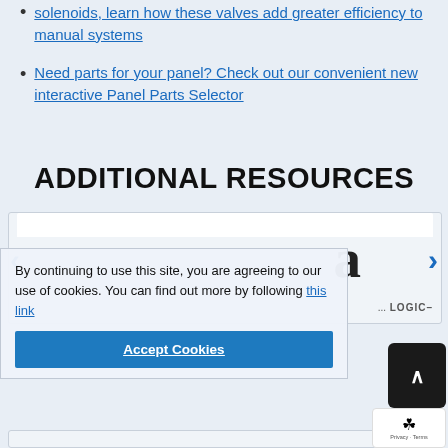solenoids, learn how these valves add greater efficiency to manual systems
Need parts for your panel? Check out our convenient new interactive Panel Parts Selector
ADDITIONAL RESOURCES
[Figure (screenshot): Carousel/slider showing additional resources with a large letter 'a' visible and partial 'LOGIC-' text, with left and right navigation arrows]
By continuing to use this site, you are agreeing to our use of cookies. You can find out more by following this link
Accept Cookies